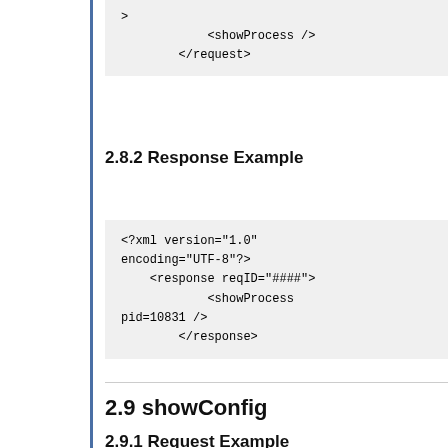>
            <showProcess />
        </request>
2.8.2 Response Example
<?xml version="1.0" encoding="UTF-8"?>
    <response reqID="####">
            <showProcess pid=10831 />
        </response>
2.9 showConfig
2.9.1 Request Example